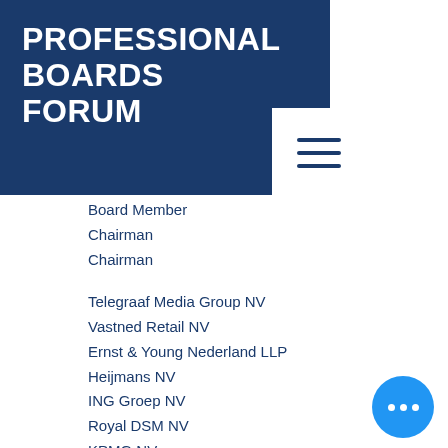PROFESSIONAL BOARDS FORUM
Board Member
Chairman
Chairman
Telegraaf Media Group NV
Vastned Retail NV
Ernst & Young Nederland LLP
Heijmans NV
ING Groep NV
Royal DSM NV
KPMG NV
Wolters Kluwer NV
Houterman Mgmnt Consultancy BV
Deutsche Bank, Netherlands
STMicroelectronics NV
NL Financial Investments
Independent ESG Advisor